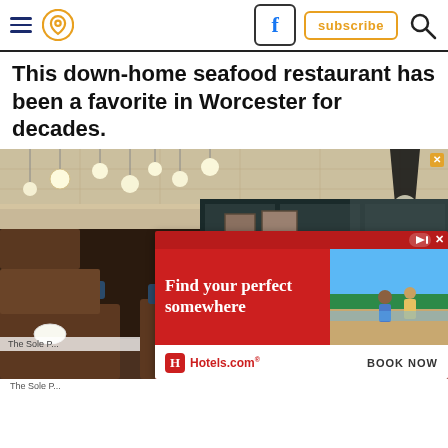Website page header with hamburger menu, location icon, Facebook icon, subscribe button, and search icon
This down-home seafood restaurant has been a favorite in Worcester for decades.
[Figure (photo): Interior of an upscale seafood restaurant with dark wood tables set with white plates and glassware, blue leather chairs, warm pendant lighting with globe bulbs, and booth seating along a mirrored wall with framed artwork.]
The Sole P...
[Figure (screenshot): Hotels.com advertisement with red background, headline 'Find your perfect somewhere', image of people at a beach, Hotels.com logo, and BOOK NOW call to action.]